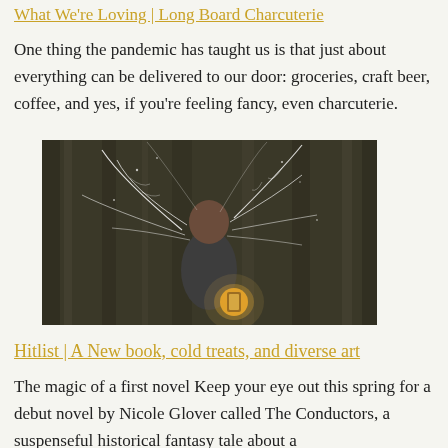What We're Loving | Long Board Charcuterie
One thing the pandemic has taught us is that just about everything can be delivered to our door: groceries, craft beer, coffee, and yes, if you're feeling fancy, even charcuterie.
[Figure (illustration): Illustration of a young Black person holding a glowing lantern, with luminous wing-like structures radiating from behind them, set against a dark forest background.]
Hitlist | A New book, cold treats, and diverse art
The magic of a first novel Keep your eye out this spring for a debut novel by Nicole Glover called The Conductors, a suspenseful historical fantasy tale about a